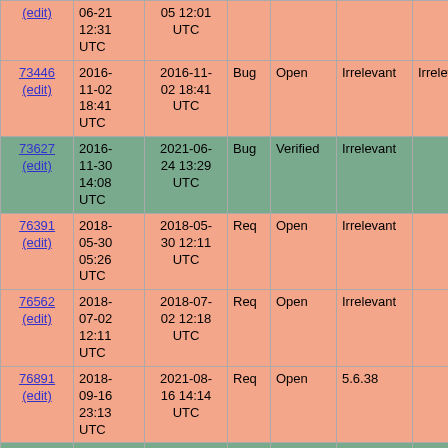| ID | Created | Changed | Type | Status | Version | Target | Summary |
| --- | --- | --- | --- | --- | --- | --- | --- |
| (edit) | 06-21 12:31 UTC | 05 12:01 UTC |  |  |  |  | should p... "Package... |
| 73446 (edit) | 2016-11-02 18:41 UTC | 2016-11-02 18:41 UTC | Bug | Open | Irrelevant | Irrelevant | docgen fa... namespa... extension... |
| 73627 (edit) | 2016-11-30 14:08 UTC | 2021-06-24 13:29 UTC | Bug | Verified | Irrelevant |  | pman is o... |
| 76391 (edit) | 2018-05-30 05:26 UTC | 2018-05-30 12:11 UTC | Req | Open | Irrelevant |  | Add links ... docs in th... files |
| 76562 (edit) | 2018-07-02 12:11 UTC | 2018-07-02 12:18 UTC | Req | Open | Irrelevant |  | Please als... include th... procedura... function in... |
| 76891 (edit) | 2018-09-16 23:13 UTC | 2021-08-16 14:14 UTC | Req | Open | 5.6.38 |  | Output SV... on build p... |
| 76981 (edit) | 2018-10-07 17:25 UTC | 2018-10-09 18:13 UTC | Doc | Verified | 7.3.0RC2 |  | Not all Da... methods s... in TOC |